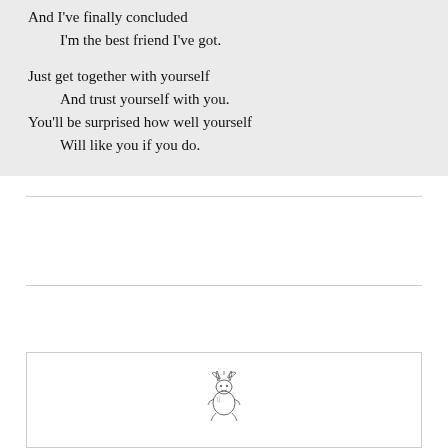And I've finally concluded
    I'm the best friend I've got.

Just get together with yourself
    And trust yourself with you.
You'll be surprised how well yourself
    Will like you if you do.
[Figure (illustration): Small pen-and-ink illustration of a seated bunny or small creature reading or hunched over, with leaves or wings at the top]